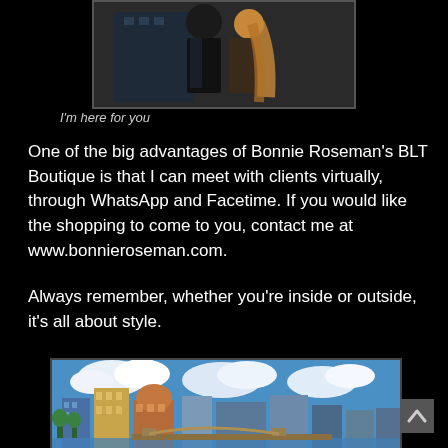[Figure (photo): Two people posing together, fashion/boutique style photo]
I'm here for you
One of the big advantages of Bonnie Roseman's BLT Boutique is that I can meet with clients virtually, through WhatsApp and Facetime. If you would like the shopping to come to you, contact me at www.bonnieroseman.com.
Always remember, whether you're inside or outside, it's all about style.
[Figure (photo): City skyline photo, likely West Palm Beach, Florida, with blue sky, clouds, buildings and waterfront bridge]